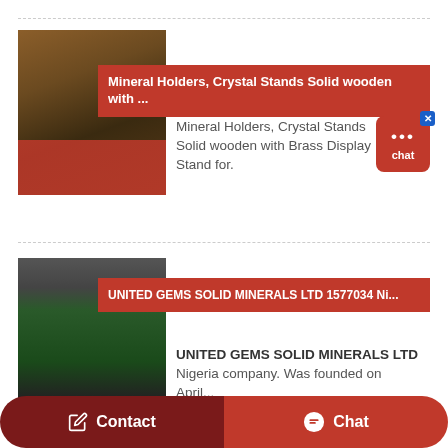[Figure (photo): Product listing card with warehouse/industrial photo and red banner overlay. Title banner reads: Mineral Holders, Crystal Stands Solid wooden with ... Description: Mineral Holders, Crystal Stands Solid wooden with Brass Display Stand for.]
[Figure (photo): Company listing card with industrial drum/cylinder machine photo and red banner overlay. Title banner reads: UNITED GEMS SOLID MINERALS LTD 1577034 Ni... Description: UNITED GEMS SOLID MINERALS LTD Nigeria company. Was founded on April...]
Contact
Chat